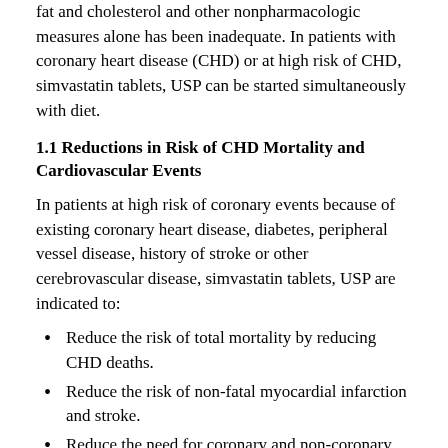fat and cholesterol and other nonpharmacologic measures alone has been inadequate. In patients with coronary heart disease (CHD) or at high risk of CHD, simvastatin tablets, USP can be started simultaneously with diet.
1.1 Reductions in Risk of CHD Mortality and Cardiovascular Events
In patients at high risk of coronary events because of existing coronary heart disease, diabetes, peripheral vessel disease, history of stroke or other cerebrovascular disease, simvastatin tablets, USP are indicated to:
Reduce the risk of total mortality by reducing CHD deaths.
Reduce the risk of non-fatal myocardial infarction and stroke.
Reduce the need for coronary and non-coronary revascularization procedures.
1.2 Hyperlipidemia
Simvastatin tablets, USP are indicated to:
Reduce elevated total cholesterol (total-C), low-density